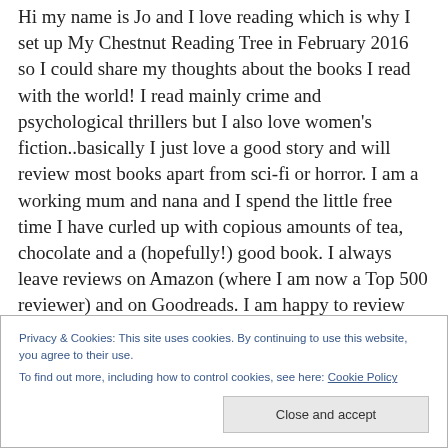Hi my name is Jo and I love reading which is why I set up My Chestnut Reading Tree in February 2016 so I could share my thoughts about the books I read with the world! I read mainly crime and psychological thrillers but I also love women's fiction..basically I just love a good story and will review most books apart from sci-fi or horror. I am a working mum and nana and I spend the little free time I have curled up with copious amounts of tea, chocolate and a (hopefully!) good book. I always leave reviews on Amazon (where I am now a Top 500 reviewer) and on Goodreads. I am happy to review both ebooks and
Privacy & Cookies: This site uses cookies. By continuing to use this website, you agree to their use.
To find out more, including how to control cookies, see here: Cookie Policy
Close and accept